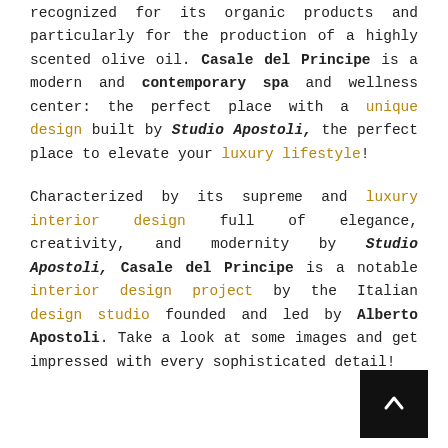recognized for its organic products and particularly for the production of a highly scented olive oil. Casale del Principe is a modern and contemporary spa and wellness center: the perfect place with a unique design built by Studio Apostoli, the perfect place to elevate your luxury lifestyle!
Characterized by its supreme and luxury interior design full of elegance, creativity, and modernity by Studio Apostoli, Casale del Principe is a notable interior design project by the Italian design studio founded and led by Alberto Apostoli. Take a look at some images and get impressed with every sophisticated detail!